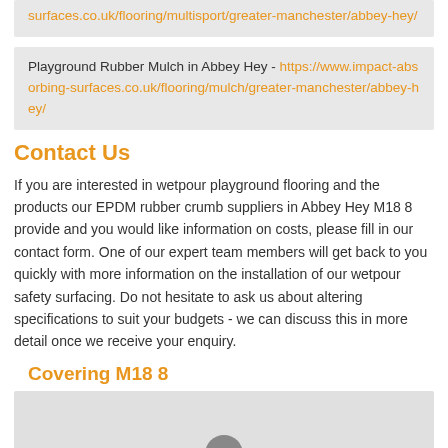surfaces.co.uk/flooring/multisport/greater-manchester/abbey-hey/
Playground Rubber Mulch in Abbey Hey - https://www.impact-absorbing-surfaces.co.uk/flooring/mulch/greater-manchester/abbey-hey/
Contact Us
If you are interested in wetpour playground flooring and the products our EPDM rubber crumb suppliers in Abbey Hey M18 8 provide and you would like information on costs, please fill in our contact form. One of our expert team members will get back to you quickly with more information on the installation of our wetpour safety surfacing. Do not hesitate to ask us about altering specifications to suit your budgets - we can discuss this in more detail once we receive your enquiry.
Covering M18 8
[Figure (map): Embedded map showing Abbey Hey M18 8 coverage area with a play button icon]